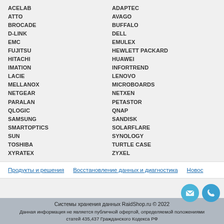ACELAB
ATTO
BROCADE
D-LINK
EMC
FUJITSU
HITACHI
IMATION
LACIE
MELLANOX
NETGEAR
PARALAN
QLOGIC
SAMSUNG
SMARTOPTICS
SUN
TOSHIBA
XYRATEX
ADAPTEC
AVAGO
BUFFALO
DELL
EMULEX
HEWLETT PACKARD
HUAWEI
INFORTREND
LENOVO
MICROBOARDS
NETXEN
PETASTOR
QNAP
SANDISK
SOLARFLARE
SYNOLOGY
TURTLE CASE
ZYXEL
Продукты и решения   Восстановление данных и диагностика   Новос
Системы хранения данных RaidShop.ru © 2022
Данная информация не является публичной офертой, определяемой положениями статей 435,437 Гражданского Кодекса РФ